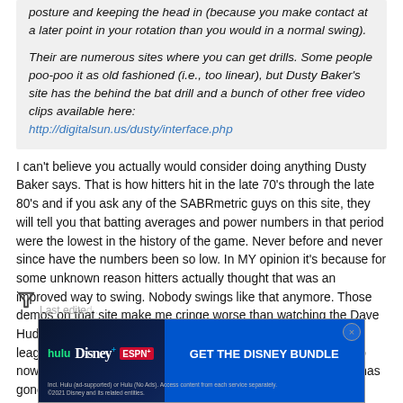posture and keeping the head in (because you make contact at a later point in your rotation than you would in a normal swing).

Their are numerous sites where you can get drills. Some people poo-poo it as old fashioned (i.e., too linear), but Dusty Baker's site has the behind the bat drill and a bunch of other free video clips available here:
http://digitalsun.us/dusty/interface.php
I can't believe you actually would consider doing anything Dusty Baker says. That is how hitters hit in the late 70's through the late 80's and if you ask any of the SABRmetric guys on this site, they will tell you that batting averages and power numbers in that period were the lowest in the history of the game. Never before and never since have the numbers been so low. In MY opinion it's because for some unknown reason hitters actually thought that was an improved way to swing. Nobody swings like that anymore. Those demos on that site make me cringe worse than watching the Dave Hudgens videos. If you truly want to be the worst hitter in your league; do those drills. The power numbers from the mid 90's to now are higher than ever and I believe it's because everybody has gone back to the swings prior to the 70's with some new found improvements.
Last edite...
[Figure (other): Advertisement banner: Disney Bundle promotion featuring Hulu, Disney+, and ESPN+ logos with 'GET THE DISNEY BUNDLE' call to action button. Small print reads 'Incl. Hulu (ad-supported) or Hulu (No Ads). Access content from each service separately. ©2021 Disney and its related entities.']